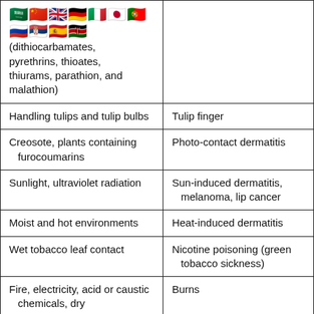| Cause/Exposure | Condition/Effect |
| --- | --- |
| (dithiocarbamates, pyrethrins, thioates, thiurams, parathion, and malathion) |  |
| Handling tulips and tulip bulbs | Tulip finger |
| Creosote, plants containing furocoumarins | Photo-contact dermatitis |
| Sunlight, ultraviolet radiation | Sun-induced dermatitis, melanoma, lip cancer |
| Moist and hot environments | Heat-induced dermatitis |
| Wet tobacco leaf contact | Nicotine poisoning (green tobacco sickness) |
| Fire, electricity, acid or caustic chemicals, dry (hygroscopic) fertilizer, | Burns |